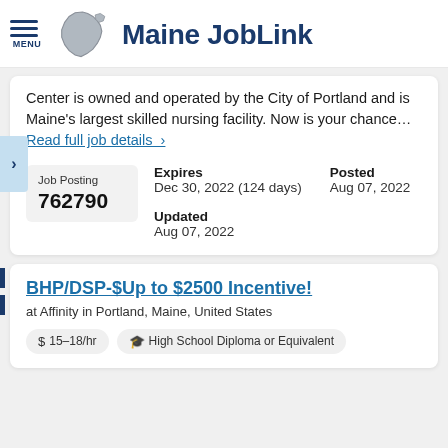Maine JobLink
Center is owned and operated by the City of Portland and is Maine's largest skilled nursing facility. Now is your chance… Read full job details ›
Job Posting 762790
Expires Dec 30, 2022 (124 days)
Posted Aug 07, 2022
Updated Aug 07, 2022
BHP/DSP-$Up to $2500 Incentive!
at Affinity in Portland, Maine, United States
$ 15–18/hr   High School Diploma or Equivalent